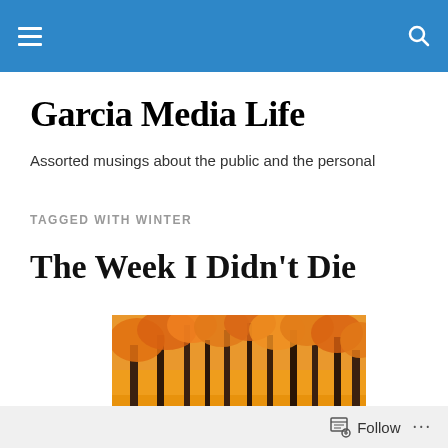Garcia Media Life — navigation bar
Garcia Media Life
Assorted musings about the public and the personal
TAGGED WITH WINTER
The Week I Didn't Die
[Figure (photo): Autumn forest path with tall trees covered in bright orange and yellow leaves, sunlit woodland scene]
Follow